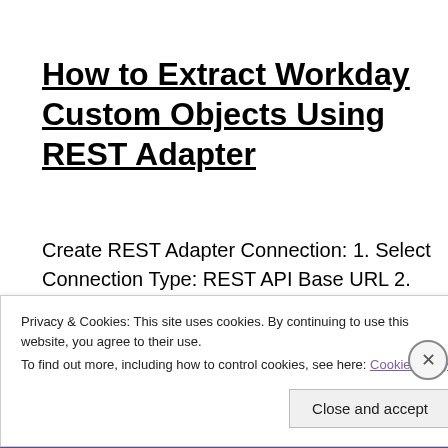How to Extract Workday Custom Objects Using REST Adapter
Create REST Adapter Connection: 1. Select Connection Type: REST API Base URL 2. Connection URL:  https://wd2-impl-
Privacy & Cookies: This site uses cookies. By continuing to use this website, you agree to their use.
To find out more, including how to control cookies, see here: Cookie Policy
Close and accept